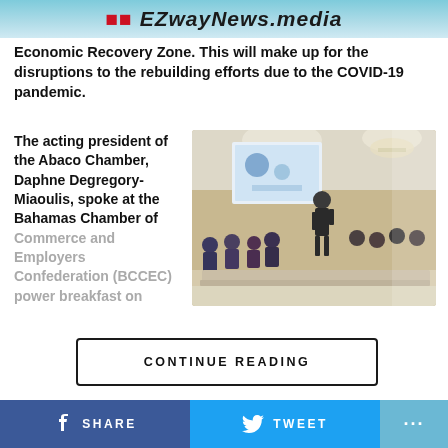EZwayNews.media
Economic Recovery Zone. This will make up for the disruptions to the rebuilding efforts due to the COVID-19 pandemic.
The acting president of the Abaco Chamber, Daphne Degregory-Miaoulis, spoke at the Bahamas Chamber of Commerce and Employers Confederation (BCCEC) power breakfast on
[Figure (photo): Conference room scene with presenter at front, screen with presentation, audience seated, hotel ballroom lighting]
CONTINUE READING
SHARE
TWEET
...